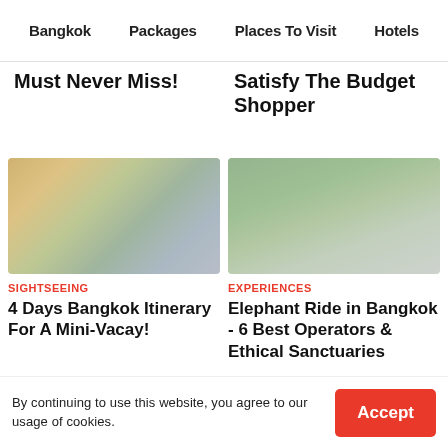Bangkok  Packages  Places To Visit  Hotels
Must Never Miss!
Satisfy The Budget Shopper
[Figure (photo): Cityscape with golden sun rays shining through trees]
SIGHTSEEING
4 Days Bangkok Itinerary For A Mini-Vacay!
[Figure (photo): Two people riding an elephant through a river in Bangkok]
EXPERIENCES
Elephant Ride in Bangkok - 6 Best Operators & Ethical Sanctuaries
[Figure (photo): Partially visible dark image at bottom left]
[Figure (photo): Partially visible warm-toned image at bottom right]
By continuing to use this website, you agree to our usage of cookies.